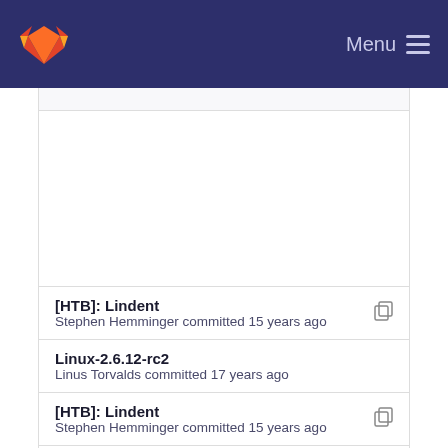GitLab — Menu
[HTB]: Lindent — Stephen Hemminger committed 15 years ago
Linux-2.6.12-rc2 — Linus Torvalds committed 17 years ago
[HTB]: Lindent — Stephen Hemminger committed 15 years ago
Linux-2.6.12-rc2 — Linus Torvalds committed 17 years ago
[HTB]: Lindent — Stephen Hemminger committed 15 years ago